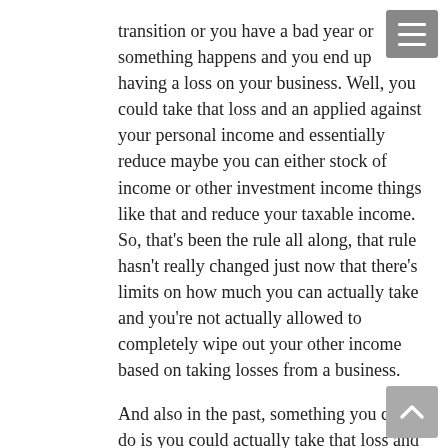transition or you have a bad year or something happens and you end up having a loss on your business. Well, you could take that loss and an applied against your personal income and essentially reduce maybe you can either stock of income or other investment income things like that and reduce your taxable income. So, that's been the rule all along, that rule hasn't really changed just now that there's limits on how much you can actually take and you're not actually allowed to completely wipe out your other income based on taking losses from a business.
And also in the past, something you could do is you could actually take that loss and you can carry it back a couple of years so